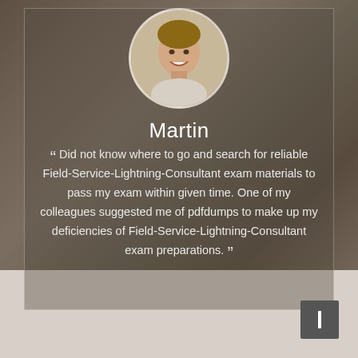[Figure (photo): Circular avatar photo of a smiling young man on a blurred laptop/desk background]
Martin
“ Did not know where to go and search for reliable Field-Service-Lightning-Consultant exam materials to pass my exam within given time. One of my colleagues suggested me of pdfdumps to make up my deficiencies of Field-Service-Lightning-Consultant exam preparations. ”